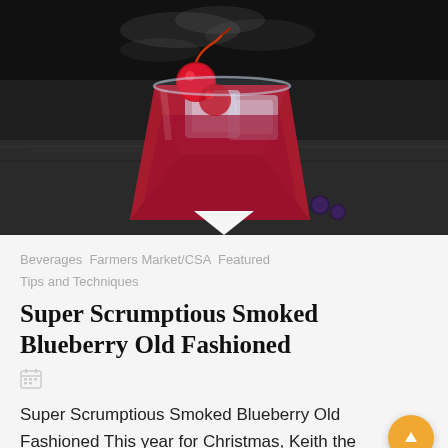[Figure (photo): A cocktail glass filled with dark red/blueberry old fashioned drink, ice cubes, and a maraschino cherry garnish with a stem, on a dark stone surface with wisps of smoke. A few blueberries visible beside the glass.]
Beverages  Farmers Market/CSA  Featured  Tips and Techniques
Super Scrumptious Smoked Blueberry Old Fashioned
Super Scrumptious Smoked Blueberry Old Fashioned This year for Christmas, Keith the